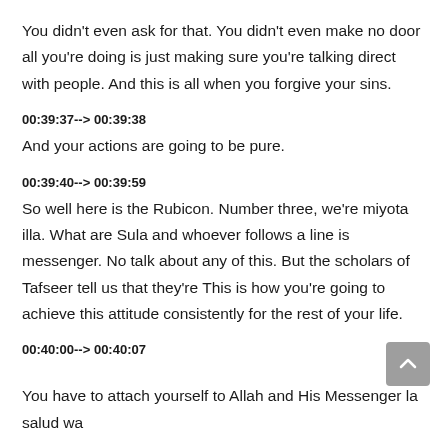You didn't even ask for that. You didn't even make no door all you're doing is just making sure you're talking direct with people. And this is all when you forgive your sins.
00:39:37--> 00:39:38
And your actions are going to be pure.
00:39:40--> 00:39:59
So well here is the Rubicon. Number three, we're miyota illa. What are Sula and whoever follows a line is messenger. No talk about any of this. But the scholars of Tafseer tell us that they're This is how you're going to achieve this attitude consistently for the rest of your life.
00:40:00--> 00:40:07
You have to attach yourself to Allah and His Messenger la salud wa